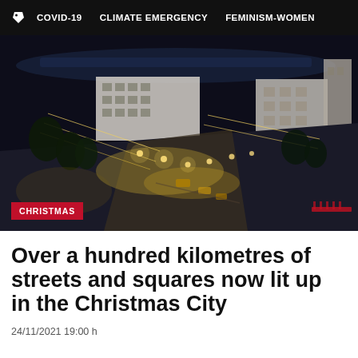COVID-19   CLIMATE EMERGENCY   FEMINISM-WOMEN
[Figure (photo): Aerial night view of a city boulevard with Christmas lights illuminating streets and squares, with buildings visible in the background.]
CHRISTMAS
Over a hundred kilometres of streets and squares now lit up in the Christmas City
24/11/2021 19:00 h